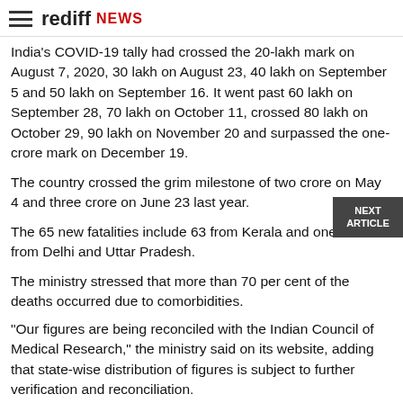rediff NEWS
India's COVID-19 tally had crossed the 20-lakh mark on August 7, 2020, 30 lakh on August 23, 40 lakh on September 5 and 50 lakh on September 16. It went past 60 lakh on September 28, 70 lakh on October 11, crossed 80 lakh on October 29, 90 lakh on November 20 and surpassed the one-crore mark on December 19.
The country crossed the grim milestone of two crore on May 4 and three crore on June 23 last year.
The 65 new fatalities include 63 from Kerala and one each from Delhi and Uttar Pradesh.
The ministry stressed that more than 70 per cent of the deaths occurred due to comorbidities.
"Our figures are being reconciled with the Indian Council of Medical Research," the ministry said on its website, adding that state-wise distribution of figures is subject to further verification and reconciliation.
Get Rediff News in your Inbox.
Enter Your email ID: